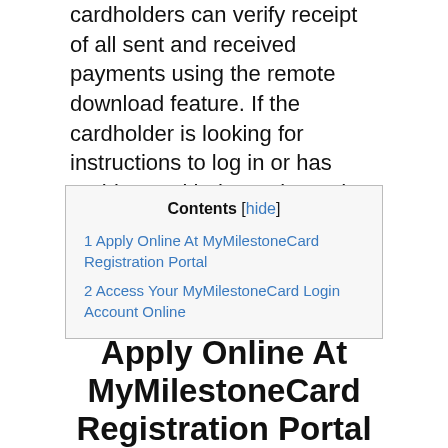cardholders can verify receipt of all sent and received payments using the remote download feature. If the cardholder is looking for instructions to log in or has problems with the registered account, you will find all the information mentioned here for your help.
| Contents [hide] |
| 1 Apply Online At MyMilestoneCard Registration Portal |
| 2 Access Your MyMilestoneCard Login Account Online |
Apply Online At MyMilestoneCard Registration Portal